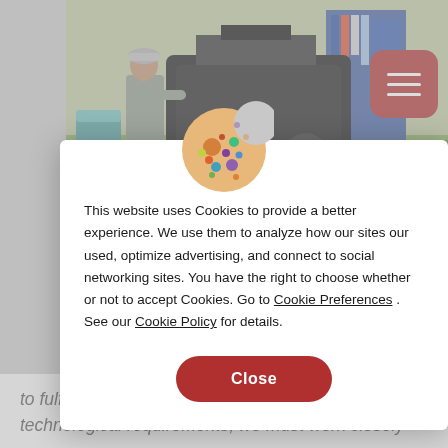[Figure (photo): Factory floor with worker in gray overalls standing next to large industrial machinery (black vehicle/forklift), shelving with equipment in background]
[Figure (illustration): Cookie icon - cartoon cookie with bite taken out, decorated with colorful dots/chips]
This website uses Cookies to provide a better experience. We use them to analyze how our sites our used, optimize advertising, and connect to social networking sites. You have the right to choose whether or not to accept Cookies. Go to Cookie Preferences . See our Cookie Policy for details.
Close
to fulfil. In order to meet their sophisticated level of technological requirements, we must work closely